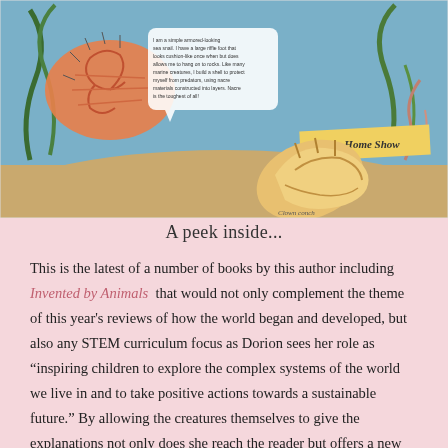[Figure (illustration): A colorful illustrated spread from a children's book showing an underwater scene with marine creatures including a chiton/snail, abalone shell with cross-section diagram, conch shell, nautilus, and sea urchin on a sandy ocean floor with seaweed and coral. Title banner reads 'Marine Home Show'. Labels include 'Clown conch', 'Chambered nautilus', 'Spiny sea urchin'. Text bubbles and captions appear describing shell structures.]
A peek inside...
This is the latest of a number of books by this author including Invented by Animals  that would not only complement the theme of this year's reviews of how the world began and developed, but also any STEM curriculum focus as Dorion sees her role as “inspiring children to explore the complex systems of the world we live in and to take positive actions towards a sustainable future.” By allowing the creatures themselves to give the explanations not only does she reach the reader but offers a new way of approaching what could be a not-so-fascinating topic.  Certainly, until I picked up Built By Animals I never drew any sort of correlation between